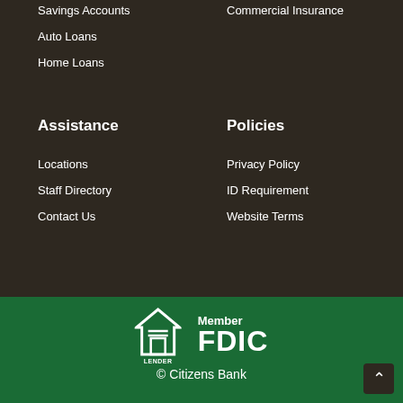Savings Accounts
Auto Loans
Home Loans
Commercial Insurance
Assistance
Policies
Locations
Staff Directory
Contact Us
Privacy Policy
ID Requirement
Website Terms
[Figure (logo): Equal Housing Lender logo and Member FDIC logo]
© Citizens Bank